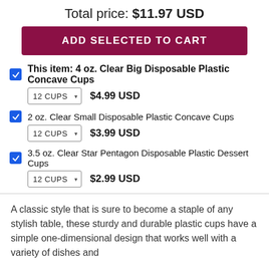Total price: $11.97 USD
ADD SELECTED TO CART
This item: 4 oz. Clear Big Disposable Plastic Concave Cups — 12 CUPS — $4.99 USD
2 oz. Clear Small Disposable Plastic Concave Cups — 12 CUPS — $3.99 USD
3.5 oz. Clear Star Pentagon Disposable Plastic Dessert Cups — 12 CUPS — $2.99 USD
A classic style that is sure to become a staple of any stylish table, these sturdy and durable plastic cups have a simple one-dimensional design that works well with a variety of dishes and